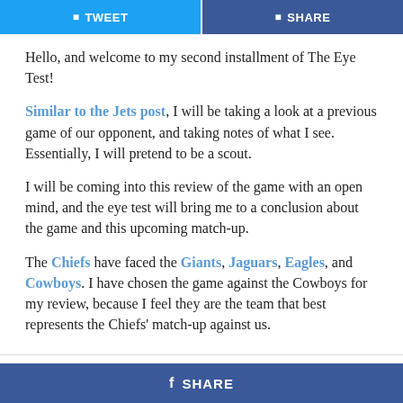TWEET | SHARE
Hello, and welcome to my second installment of The Eye Test!
Similar to the Jets post, I will be taking a look at a previous game of our opponent, and taking notes of what I see. Essentially, I will pretend to be a scout.
I will be coming into this review of the game with an open mind, and the eye test will bring me to a conclusion about the game and this upcoming match-up.
The Chiefs have faced the Giants, Jaguars, Eagles, and Cowboys. I have chosen the game against the Cowboys for my review, because I feel they are the team that best represents the Chiefs' match-up against us.
SHARE